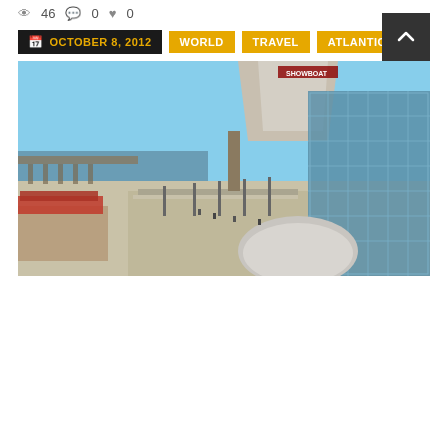👁 46  💬 0  ♥ 0
OCTOBER 8, 2012  WORLD  TRAVEL  ATLANTIC CITY
[Figure (photo): Aerial view of Atlantic City boardwalk with beach, ocean, pier, casino buildings including Showboat and glass-facade structure, clear blue sky]
With the change in season comes a change in the Atlantic City advertising campaign, now visitors are being urged to "Do Change" throughout the autumn.